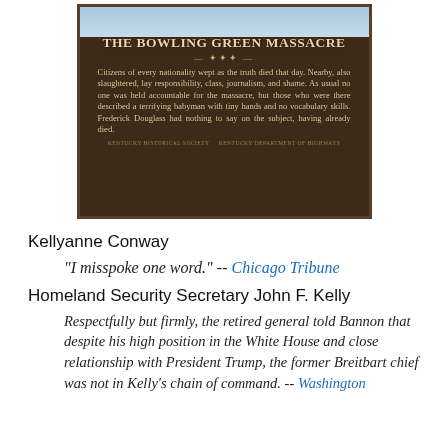[Figure (photo): A dark wooden historical marker sign reading 'THE BOWLING GREEN MASSACRE' with satirical text about citizens weeping as truth died, describing a terrifying babyman with tiny hands and no vocabulary skills, and noting Frederick Douglass had nothing to say on the subject, having already died.]
Kellyanne Conway
"I misspoke one word." -- Chicago Tribune
Homeland Security Secretary John F. Kelly
Respectfully but firmly, the retired general told Bannon that despite his high position in the White House and close relationship with President Trump, the former Breitbart chief was not in Kelly's chain of command. -- Washington